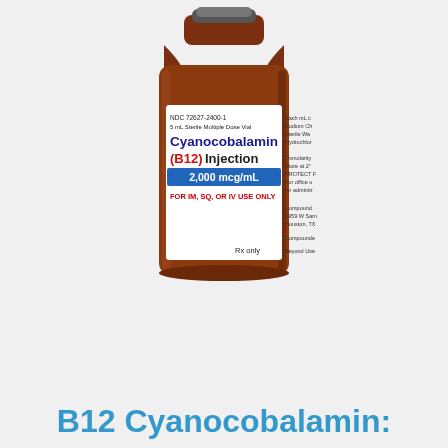[Figure (photo): Amber glass multiple dose vial of Cyanocobalamin (B12) Injection 2,000 mcg/mL with white label. Label shows NDC 72627-2400-1, 5 mL Sterile Multiple Dose Vial, FOR IM, SQ, OR IV USE ONLY, Rx only.]
B12 Cyanocobalamin: